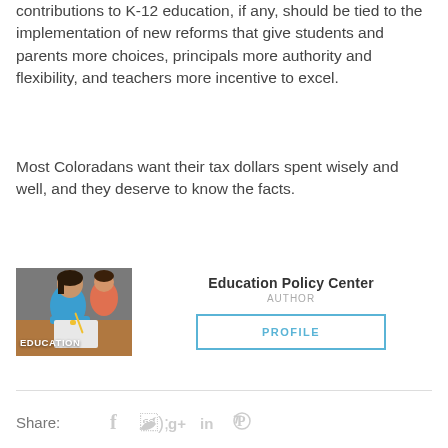contributions to K-12 education, if any, should be tied to the implementation of new reforms that give students and parents more choices, principals more authority and flexibility, and teachers more incentive to excel.
Most Coloradans want their tax dollars spent wisely and well, and they deserve to know the facts.
[Figure (photo): Photo of students working at a desk with 'EDUCATION' text overlay]
Education Policy Center
AUTHOR
PROFILE
Share:
[Figure (infographic): Social media share icons: Facebook, Twitter, Google+, LinkedIn, Pinterest]